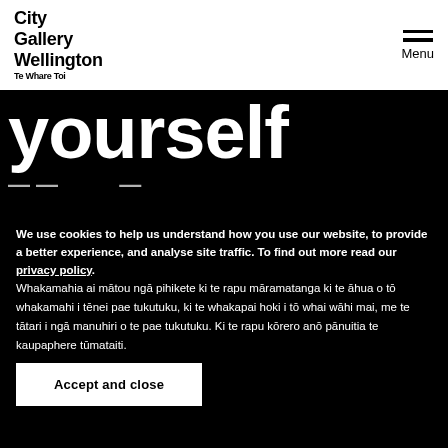City Gallery Wellington Te Whare Toi
yourself
We use cookies to help us understand how you use our website, to provide a better experience, and analyse site traffic. To find out more read our privacy policy. Whakamahia ai mātou ngā pihikete ki te rapu māramatanga ki te āhua o tō whakamahi i tēnei pae tukutuku, ki te whakapai hoki i tō whai wāhi mai, me te tātari i ngā manuhiri o te pae tukutuku. Ki te rapu kōrero anō pānuitia te kaupaphere tūmataiti.
Accept and close